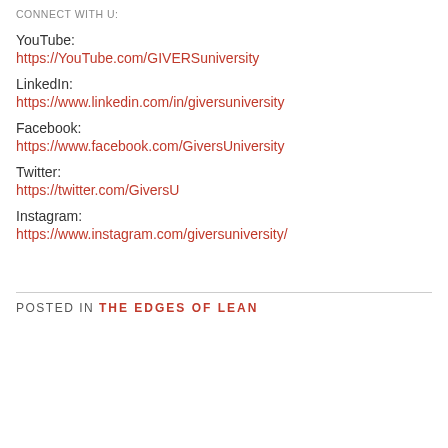CONNECT WITH U:
YouTube:
https://YouTube.com/GIVERSuniversity
LinkedIn:
https://www.linkedin.com/in/giversuniversity
Facebook:
https://www.facebook.com/GiversUniversity
Twitter:
https://twitter.com/GiversU
Instagram:
https://www.instagram.com/giversuniversity/
POSTED IN THE EDGES OF LEAN